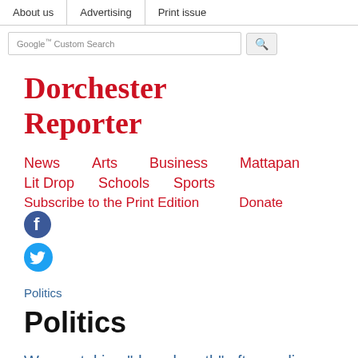About us | Advertising | Print issue
Dorchester Reporter
News   Arts   Business   Mattapan   Lit Drop   Schools   Sports   Subscribe to the Print Edition   Donate
Politics
Politics
Warren taking "deep breath" after ending campaign